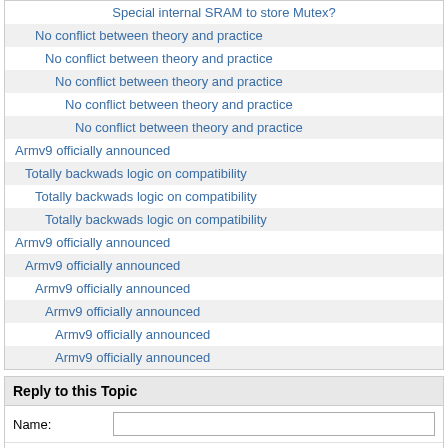Special internal SRAM to store Mutex?
No conflict between theory and practice
No conflict between theory and practice
No conflict between theory and practice
No conflict between theory and practice
No conflict between theory and practice
Armv9 officially announced
Totally backwads logic on compatibility
Totally backwads logic on compatibility
Totally backwads logic on compatibility
Armv9 officially announced
Armv9 officially announced
Armv9 officially announced
Armv9 officially announced
Armv9 officially announced
Armv9 officially announced
Armv9 officially announced
Reply to this Topic
Name:
Email:
Topic: No conflict between theory and pr...